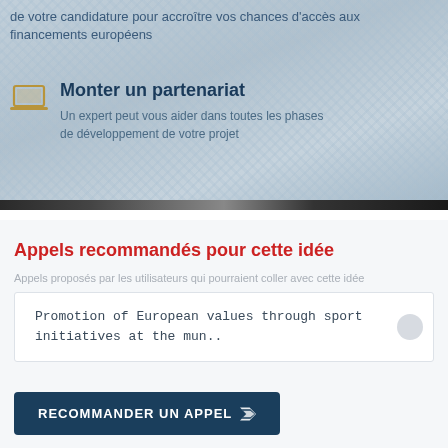de votre candidature pour accroître vos chances d'accès aux financements européens
Monter un partenariat
Un expert peut vous aider dans toutes les phases de développement de votre projet
Appels recommandés pour cette idée
Appels proposés par les utilisateurs qui pourraient coller avec cette idée
Promotion of European values through sport initiatives at the mun..
RECOMMANDER UN APPEL